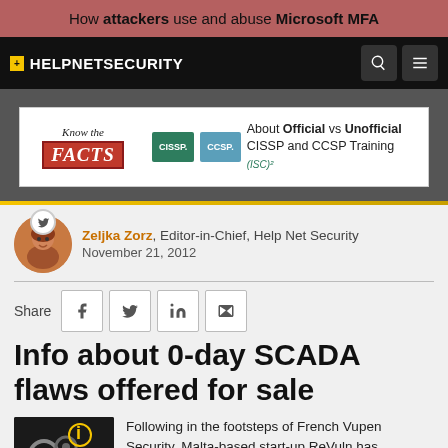How attackers use and abuse Microsoft MFA
+ HELPNETSECURITY
[Figure (screenshot): Advertisement banner: Know the FACTS about Official vs Unofficial CISSP and CCSP Training by (ISC)²]
[Figure (photo): Author avatar photo of Zeljka Zorz]
Zeljka Zorz, Editor-in-Chief, Help Net Security
November 21, 2012
Share
Info about 0-day SCADA flaws offered for sale
Following in the footsteps of French Vupen Security, Malta-based start-up ReVuln has